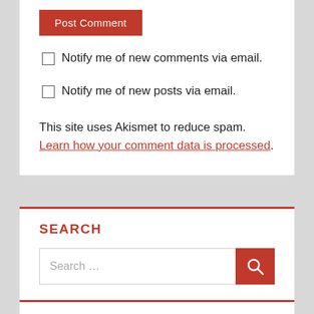Post Comment
Notify me of new comments via email.
Notify me of new posts via email.
This site uses Akismet to reduce spam. Learn how your comment data is processed.
SEARCH
Search …